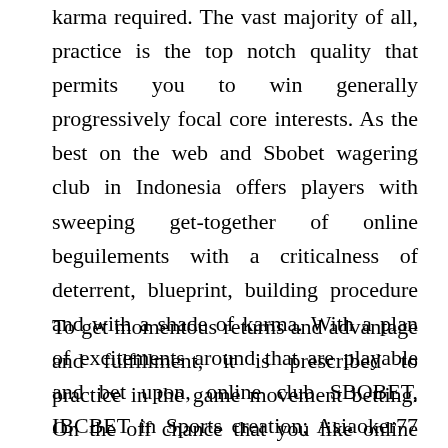karma required. The vast majority of all, practice is the top notch quality that permits you to win generally progressively focal core interests. As the best on the web and Sbobet wagering club in Indonesia offers players with sweeping get-together of online beguilements with a criticalness of deterrent, blueprint, building procedure and with a shade of karma. With a plan of excitements around that are playable and bet upon, online club SBOBET, IBCBET in Sports creation; Asiaoker77 in Online Poker, Judi bola, and so on
To get momentous returns and advantage and fulfillment, it is prescribed to practice in the game movement betting. On the off chance that you like online club gaming is among the best decisions to be